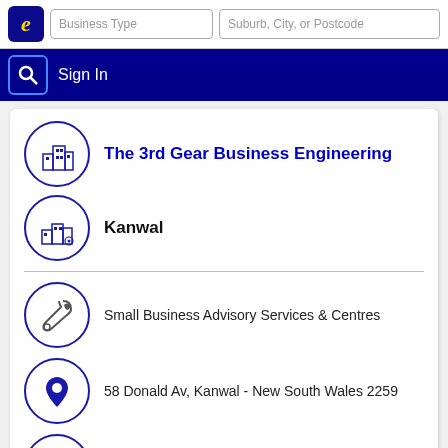Business Type | Suburb, City, or Postcode
Sign In
The 3rd Gear Business Engineering
Kanwal
Small Business Advisory Services & Centres
58 Donald Av, Kanwal - New South Wales 2259
www.southerncrossbusinesscoaching.com.au